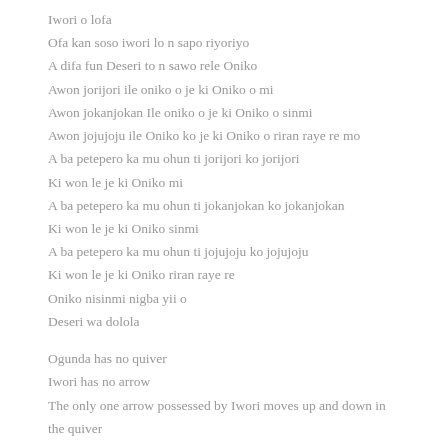Iwori o lofa
Ofa kan soso iwori lo n sapo riyoriyo
A difa fun Deseri to n sawo rele Oniko
Awon jorijori ile oniko o je ki Oniko o mi
Awon jokanjokan Ile oniko o je ki Oniko o sinmi
Awon jojujoju ile Oniko ko je ki Oniko o riran raye re mo
A ba petepero ka mu ohun ti jorijori ko jorijori
Ki won le je ki Oniko mi
A ba petepero ka mu ohun ti jokanjokan ko jokanjokan
Ki won le je ki Oniko sinmi
A ba petepero ka mu ohun ti jojujoju ko jojujoju
Ki won le je ki Oniko riran raye re
Oniko nisinmi nigba yii o
Deseri wa dolola

Ogunda has no quiver
Iwori has no arrow
The only one arrow possessed by Iwori moves up and down in the quiver